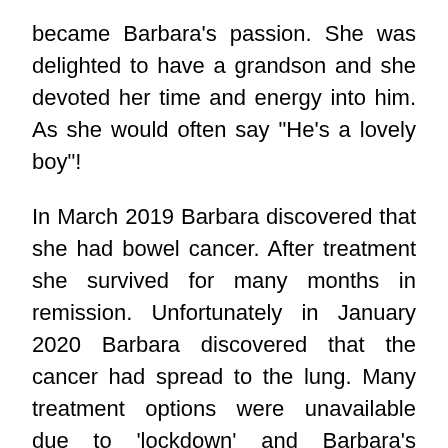became Barbara's passion. She was delighted to have a grandson and she devoted her time and energy into him. As she would often say "He's a lovely boy"!
In March 2019 Barbara discovered that she had bowel cancer. After treatment she survived for many months in remission. Unfortunately in January 2020 Barbara discovered that the cancer had spread to the lung. Many treatment options were unavailable due to 'lockdown' and Barbara's declining health. Sadly whilst she was in hospital in August 2020 the family were informed that the cancer had spread to the brain and Barbara came home to live with Catriona and Kodie for her final weeks. After a